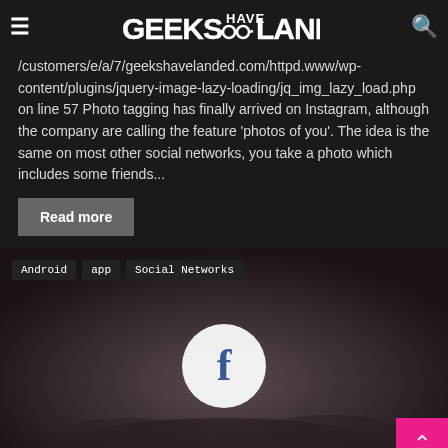Geeks Have Landed — navigation header with menu and search icons
/customers/e/a/7/geekshavelanded.com/httpd.www/wp-content/plugins/jquery-image-lazy-loading/jq_img_lazy_load.php on line 57 Photo tagging has finally arrived on Instagram, although the company are calling the feature 'photos of you'. The idea is the same on most other social networks, you take a photo which includes some friends...
Read more
[Figure (photo): Dark cinematic photo of hands with Facebook Home logo and 'home' text overlay, with tags Android, app, Social Networks. A pink back-to-top button is in the bottom right corner.]